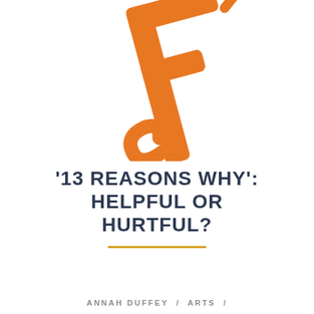[Figure (logo): Large orange stylized letter F or decorative cross/key shape, rotated slightly, in orange color, top portion of page]
'13 REASONS WHY': HELPFUL OR HURTFUL?
ANNAH DUFFEY / ARTS /